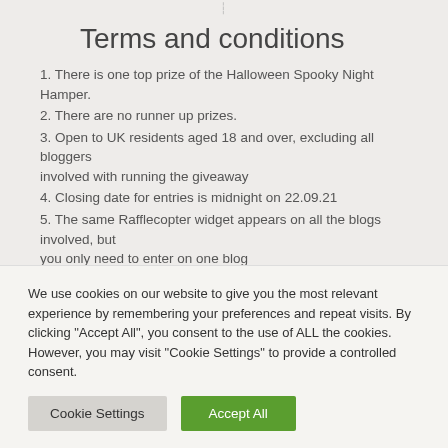Terms and conditions
1. There is one top prize of the Halloween Spooky Night Hamper.
2. There are no runner up prizes.
3. Open to UK residents aged 18 and over, excluding all bloggers involved with running the giveaway
4. Closing date for entries is midnight on 22.09.21
5. The same Rafflecopter widget appears on all the blogs involved, but you only need to enter on one blog
6. Entrants must log in to the Rafflecopter widget, and complete one or more of the tasks – each completed task earns one entry in the
We use cookies on our website to give you the most relevant experience by remembering your preferences and repeat visits. By clicking "Accept All", you consent to the use of ALL the cookies. However, you may visit "Cookie Settings" to provide a controlled consent.